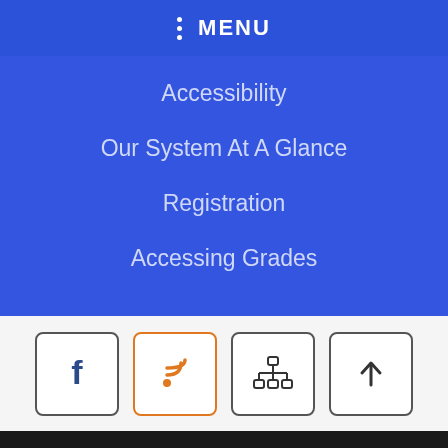MENU
Accessibility
Our System At A Glance
Registration
Accessing Grades
[Figure (infographic): Four icon buttons: Facebook (dark border), RSS feed (orange border), network/sitemap (dark border), upload/scroll-to-top arrow (dark border)]
ACCESSIBILITY STATEMENT: The Baldwin County Board of Education is committed to meeting accessibility of its website for students, parents, and members of the community, including those with disabilities. If you are experiencing accessibility issues on our